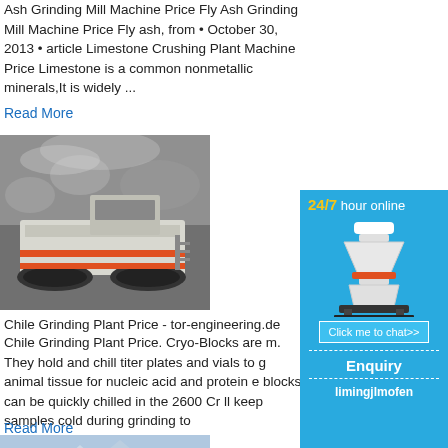Ash Grinding Mill Machine Price Fly Ash Grinding Mill Machine Price Fly ash, from • October 30, 2013 • article Limestone Crushing Plant Machine Price Limestone is a common nonmetallic minerals,It is widely ...
Read More
[Figure (photo): Photo of a mobile crusher/grinding machine on tracks outdoors]
Chile Grinding Plant Price - tor-engineering.de
Chile Grinding Plant Price. Cryo-Blocks are m. They hold and chill titer plates and vials to g animal tissue for nucleic acid and protein e blocks can be quickly chilled in the 2600 Cr ll keep samples cold during grinding to
Read More
[Figure (infographic): Blue sidebar advertisement: 24/7 hour online with crusher machine image, Click me to chat>> button, Enquiry section, and limingjlmofen text]
[Figure (photo): Partial photo of another industrial machine or plant at bottom left]